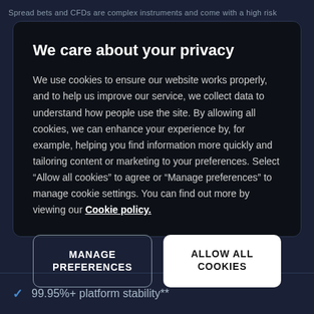Spread bets and CFDs are complex instruments and come with a high risk
We care about your privacy
We use cookies to ensure our website works properly, and to help us improve our service, we collect data to understand how people use the site. By allowing all cookies, we can enhance your experience by, for example, helping you find information more quickly and tailoring content or marketing to your preferences. Select “Allow all cookies” to agree or “Manage preferences” to manage cookie settings. You can find out more by viewing our Cookie policy.
MANAGE PREFERENCES
ALLOW ALL COOKIES
✓ 99.95%+ platform stability**